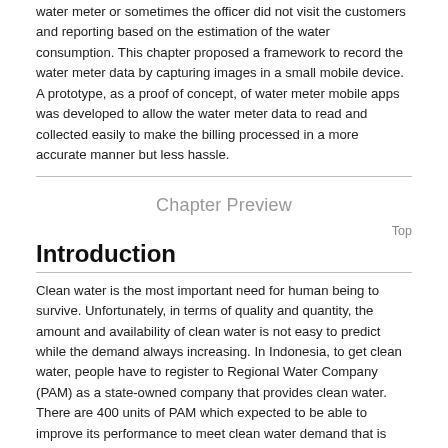water meter or sometimes the officer did not visit the customers and reporting based on the estimation of the water consumption. This chapter proposed a framework to record the water meter data by capturing images in a small mobile device. A prototype, as a proof of concept, of water meter mobile apps was developed to allow the water meter data to read and collected easily to make the billing processed in a more accurate manner but less hassle.
Chapter Preview
Top
Introduction
Clean water is the most important need for human being to survive. Unfortunately, in terms of quality and quantity, the amount and availability of clean water is not easy to predict while the demand always increasing. In Indonesia, to get clean water, people have to register to Regional Water Company (PAM) as a state-owned company that provides clean water. There are 400 units of PAM which expected to be able to improve its performance to meet clean water demand that is increasing along with the population growth. Considering the current population (240 million people), there should be an improvement in the water supply system. This system should be able to establish an effective method to manage water consumption data so that the officers can effectively and efficiently collect the information required. Unfortunately, at this present time, PAM is still collecting data manually by sending the officers to each customer. There are some issues related to water usage data from water meter that is inputted into database, such as